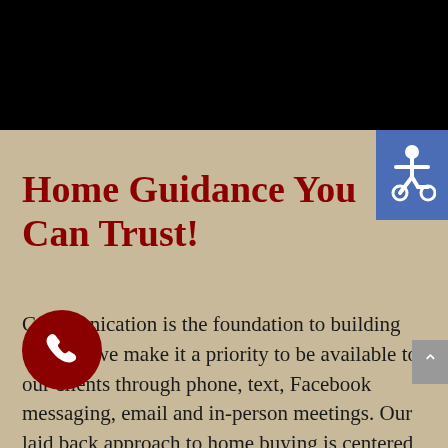[Figure (illustration): Black bar at top of page (navigation/header area)]
[Figure (illustration): Blue accessibility (wheelchair) icon in top right corner]
Home Guidance You Can Trust!
Communication is the foundation to building trust, so we make it a priority to be available to our clients through phone, text, Facebook messaging, email and in-person meetings. Our laid back approach to home buying is centered around outstanding personal service and gives you the time you need to find the right home.
help educate you about your options so that you can make well-informed decisions throughout
[Figure (illustration): Red circular phone call button in lower left]